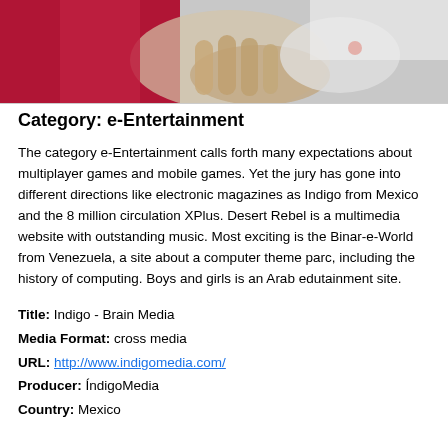[Figure (photo): Photo of hands holding a game controller with a red/magenta background on the left side and grayish background on the right]
Category: e-Entertainment
The category e-Entertainment calls forth many expectations about multiplayer games and mobile games. Yet the jury has gone into different directions like electronic magazines as Indigo from Mexico and the 8 million circulation XPlus. Desert Rebel is a multimedia website with outstanding music. Most exciting is the Binar-e-World from Venezuela, a site about a computer theme parc, including the history of computing. Boys and girls is an Arab edutainment site.
Title: Indigo - Brain Media
Media Format: cross media
URL: http://www.indigomedia.com/
Producer: ÍndigoMedia
Country: Mexico